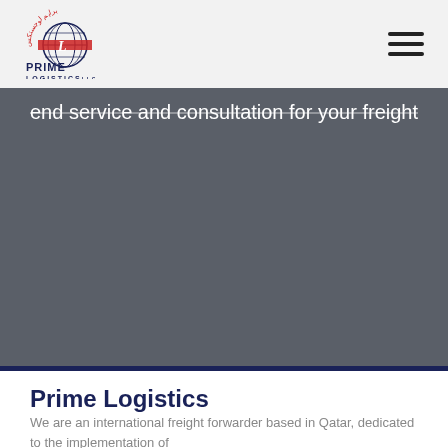Prime Logistics
[Figure (logo): Prime Logistics LLC logo with globe and stylized L, Arabic text above in red, PRIME LOGISTICS text in navy blue]
end service and consultation for your freight
Prime Logistics
We are an international freight forwarder based in Qatar, dedicated to the implementation of